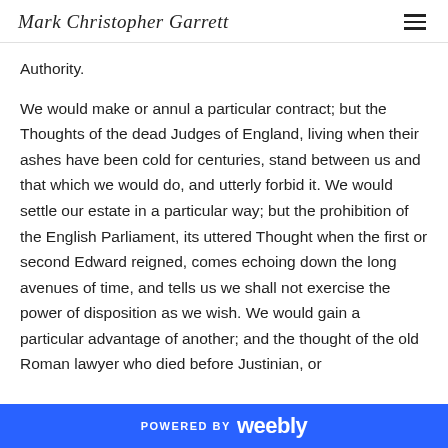Mark Christopher Garrett
Authority.
We would make or annul a particular contract; but the Thoughts of the dead Judges of England, living when their ashes have been cold for centuries, stand between us and that which we would do, and utterly forbid it. We would settle our estate in a particular way; but the prohibition of the English Parliament, its uttered Thought when the first or second Edward reigned, comes echoing down the long avenues of time, and tells us we shall not exercise the power of disposition as we wish. We would gain a particular advantage of another; and the thought of the old Roman lawyer who died before Justinian, or
POWERED BY weebly